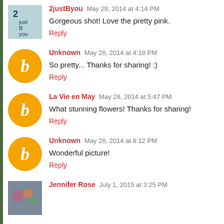2justByou  May 28, 2014 at 4:14 PM
Gorgeous shot! Love the pretty pink.
Reply
Unknown  May 28, 2014 at 4:18 PM
So pretty... Thanks for sharing! :)
Reply
La Vie en May  May 28, 2014 at 5:47 PM
What stunning flowers! Thanks for sharing!
Reply
Unknown  May 28, 2014 at 8:12 PM
Wonderful picture!
Reply
Jennifer Rose  July 1, 2015 at 3:25 PM